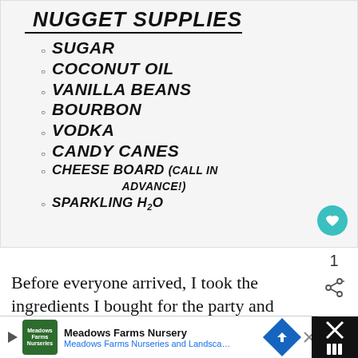NUGGET SUPPLIES
SUGAR
COCONUT OIL
VANILLA BEANS
BOURBON
VODKA
CANDY CANES
CHEESE BOARD (CALL IN ADVANCE!)
SPARKLING H2O
Before everyone arrived, I took the ingredients I bought for the party and set it all out in my dining
Meadows Farms Nursery — Meadows Farms Nurseries and Landsca…